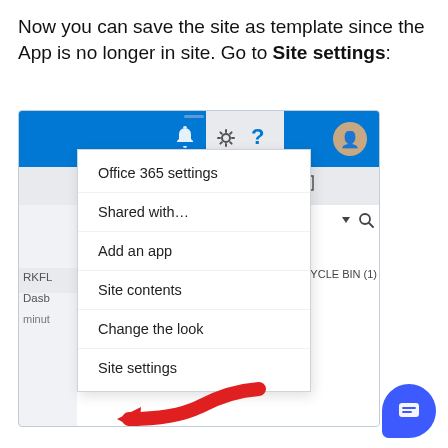Now you can save the site as template since the App is no longer in site. Go to Site settings:
[Figure (screenshot): SharePoint site settings dropdown menu screenshot showing options: Office 365 settings, Shared with..., Add an app, Site contents, Change the look, Site settings. A red arrow points to 'Site settings'. Blue navigation bar at top with gear icon, bell icon, question mark, and user avatar. A chat bubble icon appears at bottom right.]